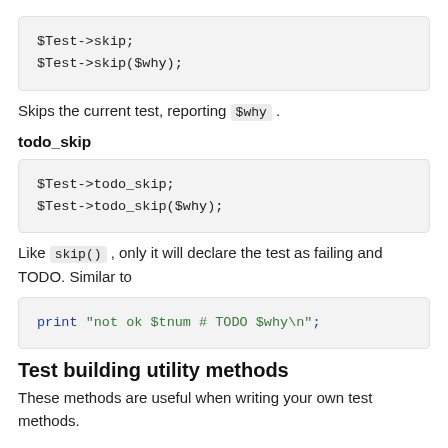[Figure (other): Code block showing: $Test->skip; $Test->skip($why);]
Skips the current test, reporting $why.
todo_skip
[Figure (other): Code block showing: $Test->todo_skip; $Test->todo_skip($why);]
Like skip(), only it will declare the test as failing and TODO. Similar to
[Figure (other): Code block showing: print "not ok $tnum # TODO $why\n";]
Test building utility methods
These methods are useful when writing your own test methods.